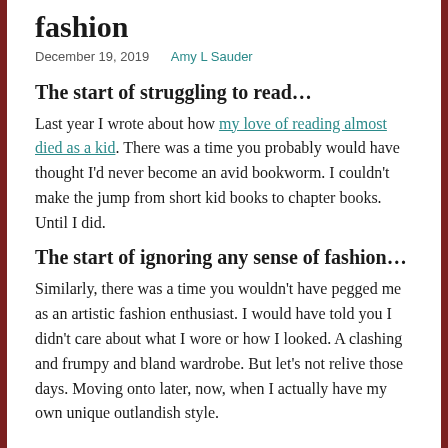fashion
December 19, 2019   Amy L Sauder
The start of struggling to read…
Last year I wrote about how my love of reading almost died as a kid. There was a time you probably would have thought I'd never become an avid bookworm. I couldn't make the jump from short kid books to chapter books. Until I did.
The start of ignoring any sense of fashion…
Similarly, there was a time you wouldn't have pegged me as an artistic fashion enthusiast. I would have told you I didn't care about what I wore or how I looked. A clashing and frumpy and bland wardrobe. But let's not relive those days. Moving onto later, now, when I actually have my own unique outlandish style.